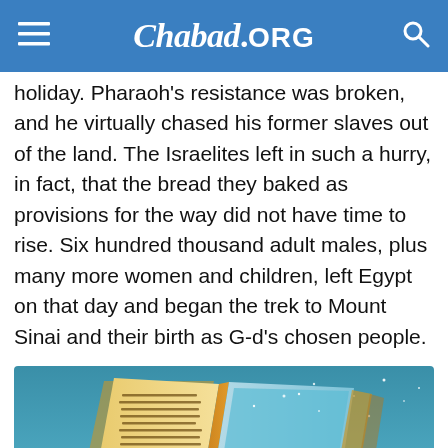Chabad.ORG
holiday. Pharaoh's resistance was broken, and he virtually chased his former slaves out of the land. The Israelites left in such a hurry, in fact, that the bread they baked as provisions for the way did not have time to rise. Six hundred thousand adult males, plus many more women and children, left Egypt on that day and began the trek to Mount Sinai and their birth as G-d's chosen people.
[Figure (illustration): Illustration of an open book (Torah/Haggadah) floating in a teal sky with clouds, pyramids visible in background on the right page]